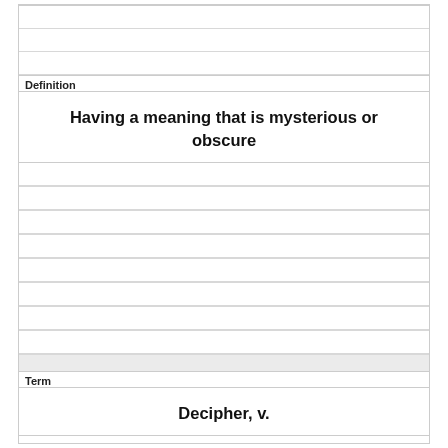Definition
Having a meaning that is mysterious or obscure
Term
Decipher, v.